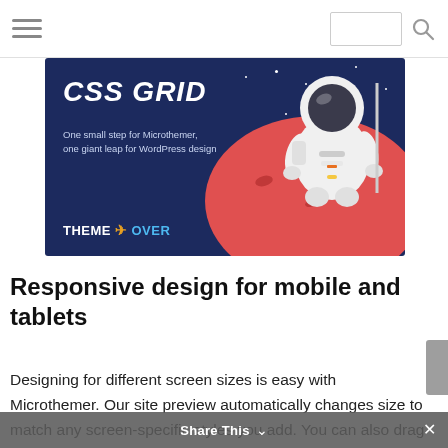Navigation bar with hamburger menu, search box, and search icon
[Figure (illustration): Banner image with dark navy blue background, showing bold white italic text 'CSS GRID', tagline 'One small step for Microthemer, one giant leap for WordPress design', THEME OVER logo in bottom left, and an illustrated astronaut standing on a red/orange planet surface on the right side. Stars visible in background.]
Responsive design for mobile and tablets
Designing for different screen sizes is easy with Microthemer. Our site preview automatically changes size to match any screen-specific styles you add. You can also drag the top ruler to set the site preview to custom widths. Default media query